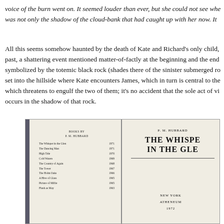voice of the burn went on. It seemed louder than ever, but she could not see whe was not only the shadow of the cloud-bank that had caught up with her now. It
All this seems somehow haunted by the death of Kate and Richard's only child, past, a shattering event mentioned matter-of-factly at the beginning and the end symbolized by the totemic black rock (shades there of the sinister submerged ro set into the hillside where Kate encounters James, which in turn is central to the which threatens to engulf the two of them; it's no accident that the sole act of vi occurs in the shadow of that rock.
[Figure (photo): Photograph of an open book showing two pages: left page lists 'BOOKS BY P. M. HUBBARD' with titles and years, right page shows 'P. M. HUBBARD' and title 'THE WHISPER IN THE GLEN' with publisher info 'NEW YORK ATHENEUM 1972']